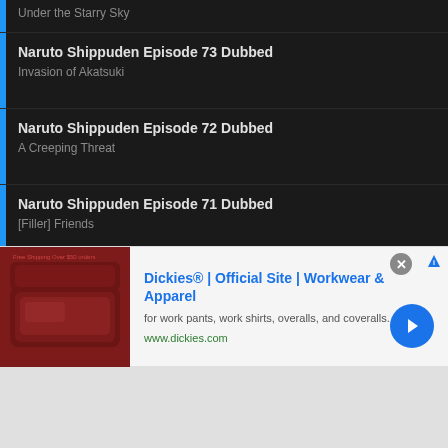Under the Starry Sky
Naruto Shippuden Episode 73 Dubbed
Invasion of Akatsuki
Naruto Shippuden Episode 72 Dubbed
A Creeping Threat
Naruto Shippuden Episode 71 Dubbed
[Filler] Friends
Naruto Shippuden Episode 70 Dubbed
[Filler] Resonance
Naruto Shippuden Episode 69 Dubbed
Episode 69
[Figure (screenshot): Advertisement banner for Dickies workwear. Shows a product image on left, ad title 'Dickies® | Official Site | Workwear & Apparel', description 'for work pants, work shirts, overalls, and coveralls.', URL 'www.dickies.com', a close button (X), and a blue circular arrow/CTA button on the right.]